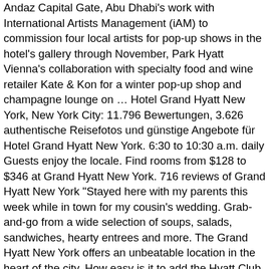Andaz Capital Gate, Abu Dhabi's work with International Artists Management (iAM) to commission four local artists for pop-up shows in the hotel's gallery through November, Park Hyatt Vienna's collaboration with specialty food and wine retailer Kate & Kon for a winter pop-up shop and champagne lounge on … Hotel Grand Hyatt New York, New York City: 11.796 Bewertungen, 3.626 authentische Reisefotos und günstige Angebote für Hotel Grand Hyatt New York. 6:30 to 10:30 a.m. daily Guests enjoy the locale. Find rooms from $128 to $346 at Grand Hyatt New York. 716 reviews of Grand Hyatt New York "Stayed here with my parents this week while in town for my cousin's wedding. Grab-and-go from a wide selection of soups, salads, sandwiches, hearty entrees and more. The Grand Hyatt New York offers an unbeatable location in the heart of the city. How easy is it to add the Hyatt Club Level? The upper-middle-range Grand Hyatt New York has a prime location in New York's corporate and tourist center. Be sure to have your World of Hyatt number and password ready. Chrysler Building is minutes away. Located in the heart of midtown Manhattan, close to many of our most important Grand Hyatt New York...